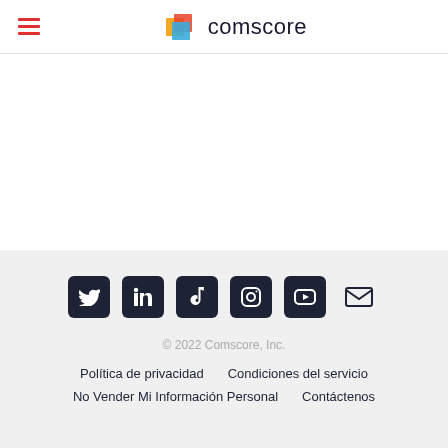comscore
[Figure (logo): Comscore logo with orange and blue overlapping squares and text 'comscore']
© 2022 Comscore, Inc. | Política de privacidad | Condiciones del servicio | No Vender Mi Información Personal | Contáctenos